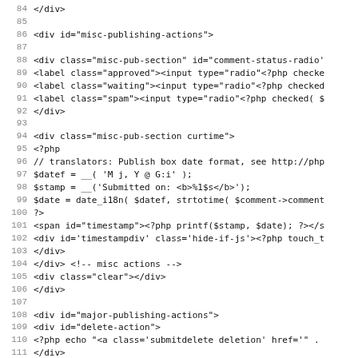Code listing showing PHP/HTML template lines 84-115